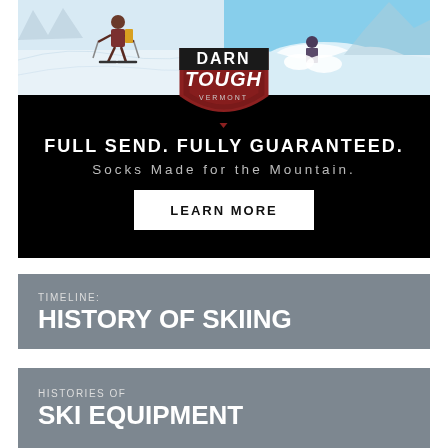[Figure (illustration): Darn Tough Vermont advertisement banner. Top half shows two ski photos side by side (left: a skier with poles on snowy mountain, right: a powder skiing scene with blue sky). Center shows the Darn Tough Vermont shield logo in red/brown with white text. Below on black background: 'FULL SEND. FULLY GUARANTEED.' in large white bold letters, 'Socks Made for the Mountain.' in lighter text, and a white 'LEARN MORE' button.]
TIMELINE:
HISTORY OF SKIING
HISTORIES OF
SKI EQUIPMENT